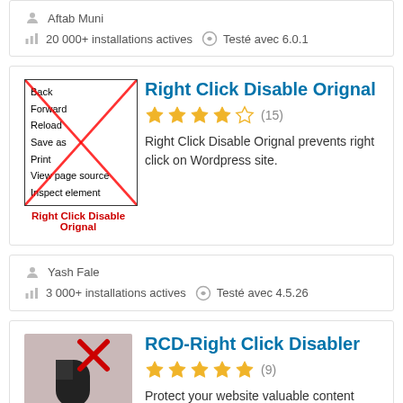Aftab Muni
20 000+ installations actives   Testé avec 6.0.1
[Figure (illustration): Context menu with items: Back, Forward, Reload, Save as, Print, View page source, Inspect element — crossed out with two red diagonal lines]
Right Click Disable Orignal
Right Click Disable Orignal
★★★★☆ (15)
Right Click Disable Orignal prevents right click on Wordpress site.
Yash Fale
3 000+ installations actives   Testé avec 4.5.26
RCD-Right Click Disabler
★★★★★ (9)
Protect your website valuable content from easy. Disable right click
[Figure (illustration): Mouse icon with red X mark on pinkish-gray background]